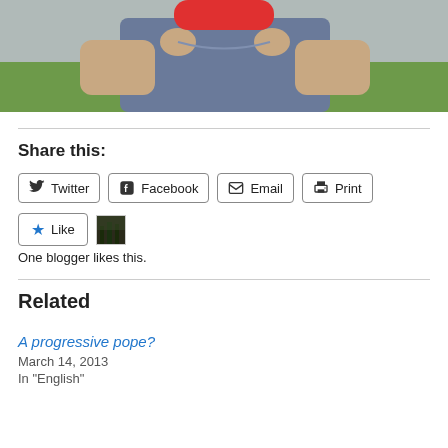[Figure (photo): Photo of a person in a blue/grey t-shirt holding their collar, outdoors on grass, with a red shape obscuring the face]
Share this:
[Figure (screenshot): Share buttons: Twitter, Facebook, Email, Print]
[Figure (screenshot): Like button with blue star and small avatar thumbnail. Text: One blogger likes this.]
Related
A progressive pope?
March 14, 2013
In "English"